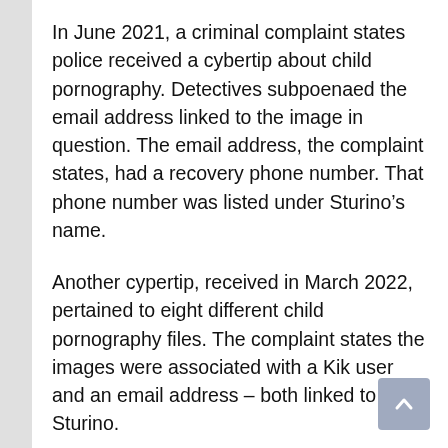In June 2021, a criminal complaint states police received a cybertip about child pornography. Detectives subpoenaed the email address linked to the image in question. The email address, the complaint states, had a recovery phone number. That phone number was listed under Sturino’s name.
Another cypertip, received in March 2022, pertained to eight different child pornography files. The complaint states the images were associated with a Kik user and an email address – both linked to Sturino.
On June 8, 2022, a search warrant was conducted at Sturino’s home. Among the collected evidence, per the complaint, was a